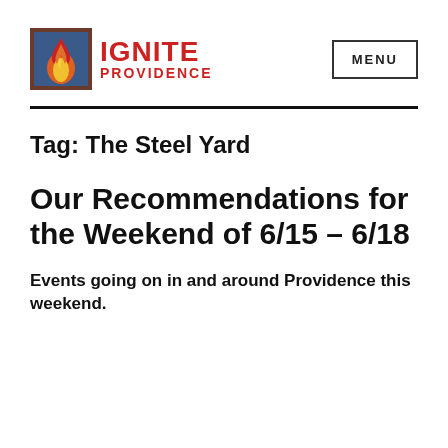[Figure (logo): Ignite Providence logo: flame illustration on blue/red background square, with red bold text IGNITE PROVIDENCE to the right]
MENU
Tag: The Steel Yard
Our Recommendations for the Weekend of 6/15 – 6/18
Events going on in and around Providence this weekend.